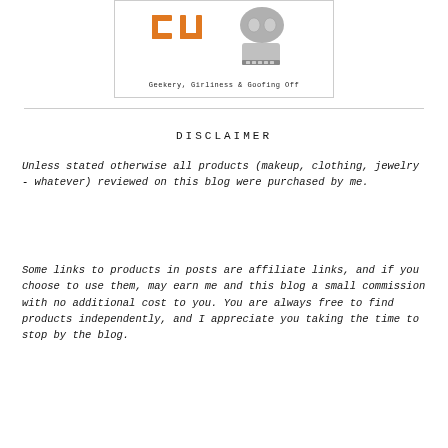[Figure (logo): Blog logo showing orange pixel-art characters and text 'Geekery, Girliness & Goofing Off']
DISCLAIMER
Unless stated otherwise all products (makeup, clothing, jewelry - whatever) reviewed on this blog were purchased by me.
Some links to products in posts are affiliate links, and if you choose to use them, may earn me and this blog a small commission with no additional cost to you. You are always free to find products independently, and I appreciate you taking the time to stop by the blog.